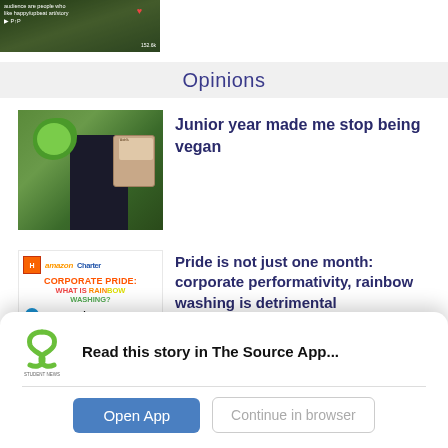[Figure (screenshot): Top portion of a video thumbnail showing text about audience and people who like happy content, with a heart icon and view count (152.6k)]
Opinions
[Figure (photo): Person holding a head of lettuce in one hand and a package of meat/sausages in the other hand]
Junior year made me stop being vegan
[Figure (infographic): Corporate Pride infographic showing logos of Home Depot, Amazon, Charter Communications, AT&T, and Verizon with text CORPORATE PRIDE: WHAT IS RAINBOW WASHING?]
Pride is not just one month: corporate performativity, rainbow washing is detrimental
[Figure (logo): Student News Source app logo - green S shape with text STUDENT NEWS SOURCE below]
Read this story in The Source App...
Open App
Continue in browser